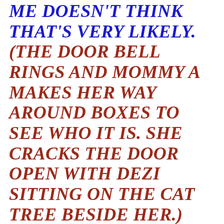ME DOESN'T THINK THAT'S VERY LIKELY. (THE DOOR BELL RINGS AND MOMMY A MAKES HER WAY AROUND BOXES TO SEE WHO IT IS. SHE CRACKS THE DOOR OPEN WITH DEZI SITTING ON THE CAT TREE BESIDE HER.) HISSSSSSSSSSSSSSSS
WHO IS IT SISSY? (HEARING THE MANAGER'S VOICE,